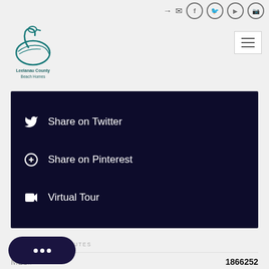[Figure (logo): Leelanau County Beach Homes logo with swan illustration]
Share on Twitter
Share on Pinterest
Virtual Tour
PROPERTY ATTRIBUTES
|  |  |
| --- | --- |
| MLS# | 1866252 |
| Type | Lot-Land |
|  | BENZIE |